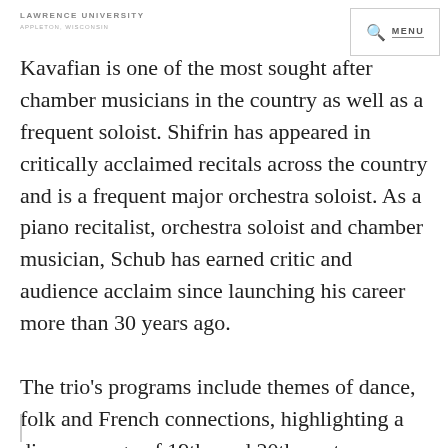LAWRENCE UNIVERSITY APPLETON, WISCONSIN
Kavafian is one of the most sought after chamber musicians in the country as well as a frequent soloist. Shifrin has appeared in critically acclaimed recitals across the country and is a frequent major orchestra soloist. As a piano recitalist, orchestra soloist and chamber musician, Schub has earned critic and audience acclaim since launching his career more than 30 years ago.

The trio’s programs include themes of dance, folk and French connections, highlighting a diverse range of 19th- and 20th-century works.